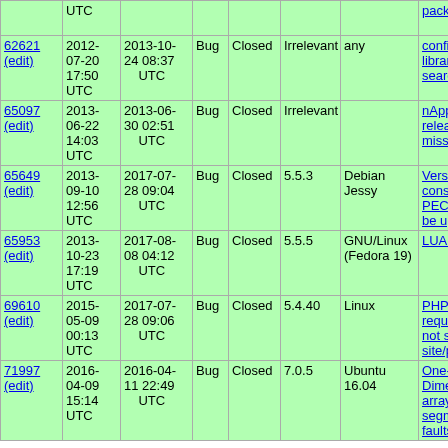| ID | Created | Modified | Type | Status | Version | OS | Summary |
| --- | --- | --- | --- | --- | --- | --- | --- |
|  | UTC |  |  |  |  |  | packa… |
| 62621
(edit) | 2012-07-20 17:50 UTC | 2013-10-24 08:37 UTC | Bug | Closed | Irrelevant | any | config
library
search… |
| 65097
(edit) | 2013-06-22 14:03 UTC | 2013-06-30 02:51 UTC | Bug | Closed | Irrelevant |  | nApph…
releas…
missin… |
| 65649
(edit) | 2013-09-10 12:56 UTC | 2017-07-28 09:04 UTC | Bug | Closed | 5.5.3 | Debian Jessy | Versio…
constr…
PECL…
be up… |
| 65953
(edit) | 2013-10-23 17:19 UTC | 2017-08-08 04:12 UTC | Bug | Closed | 5.5.5 | GNU/Linux (Fedora 19) | LUA 5… |
| 69610
(edit) | 2015-05-09 00:13 UTC | 2017-07-28 09:06 UTC | Bug | Closed | 5.4.40 | Linux | PHP
requir…
not sa…
site/pa… |
| 71997
(edit) | 2016-04-09 15:14 UTC | 2016-04-11 22:49 UTC | Bug | Closed | 7.0.5 | Ubuntu 16.04 | One-
Dimen…
arrays…
segme…
faults… |